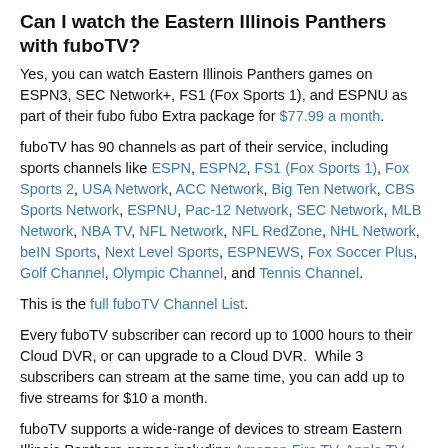Can I watch the Eastern Illinois Panthers with fuboTV?
Yes, you can watch Eastern Illinois Panthers games on ESPN3, SEC Network+, FS1 (Fox Sports 1), and ESPNU as part of their fubo fubo Extra package for $77.99 a month.
fuboTV has 90 channels as part of their service, including sports channels like ESPN, ESPN2, FS1 (Fox Sports 1), Fox Sports 2, USA Network, ACC Network, Big Ten Network, CBS Sports Network, ESPNU, Pac-12 Network, SEC Network, MLB Network, NBA TV, NFL Network, NFL RedZone, NHL Network, beIN Sports, Next Level Sports, ESPNEWS, Fox Soccer Plus, Golf Channel, Olympic Channel, and Tennis Channel.
This is the full fuboTV Channel List.
Every fuboTV subscriber can record up to 1000 hours to their Cloud DVR, or can upgrade to a Cloud DVR.  While 3 subscribers can stream at the same time, you can add up to five streams for $10 a month.
fuboTV supports a wide-range of devices to stream Eastern Illinois Panthers games including Amazon Fire TV, Apple TV, Google Chromecast, Roku, Android TV, iPhone/iPad, Android